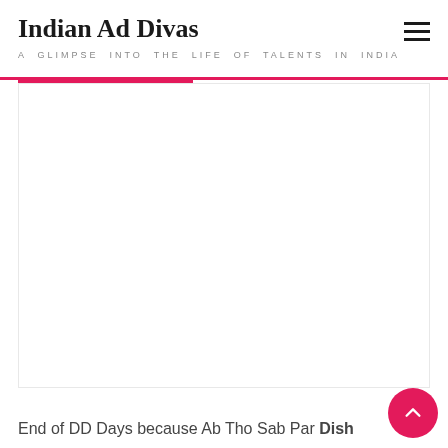Indian Ad Divas — A GLIMPSE INTO THE LIFE OF TALENTS IN INDIA
[Figure (other): Large blank white content area placeholder below the site header red bar]
End of DD Days because Ab Tho Sab Par Dish